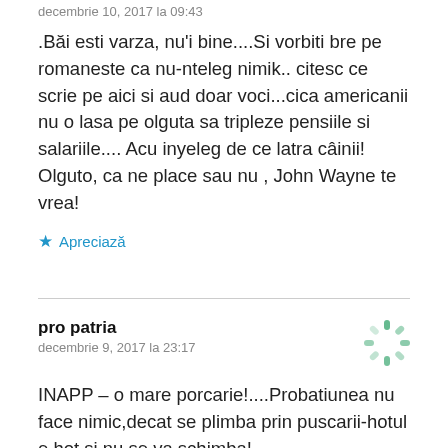decembrie 10, 2017 la 09:43
.Băi esti varza, nu'i bine....Si vorbiti bre pe romaneste ca nu-nteleg nimik.. citesc ce scrie pe aici si aud doar voci...cica americanii nu o lasa pe olguta sa tripleze pensiile si salariile.... Acu inyeleg de ce latra câinii! Olguto, ca ne place sau nu , John Wayne te vrea!
★ Apreciază
pro patria
decembrie 9, 2017 la 23:17
INAPP – o mare porcarie!....Probatiunea nu face nimic,decat se plimba prin puscarii-hotul e hot si nu se va schimba!